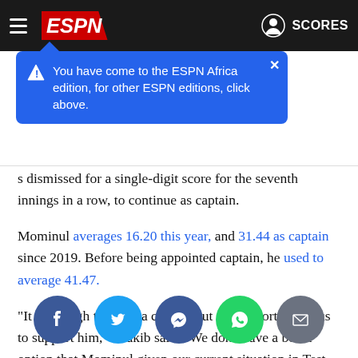[Figure (screenshot): ESPN navigation bar with hamburger menu, ESPN logo, and SCORES button on dark background]
You have come to the ESPN Africa edition, for other ESPN editions, click above.
s dismissed for a single-digit score for the seventh innings in a row, to continue as captain.
Mominul averages 16.20 this year, and 31.44 as captain since 2019. Before being appointed captain, he used to average 41.47.
"It is a tough time for a captain but it is important for us to support him," Shakib said. "We don't have a better option that Mominul given our current situation in Test cricket. It is a matter of one inning, which will change everything."
[Figure (infographic): Social sharing buttons: Facebook, Twitter, Messenger, WhatsApp, Email]